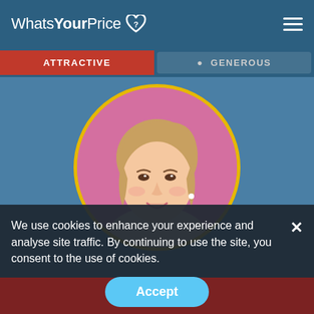[Figure (screenshot): WhatsYourPrice dating website screenshot showing logo, navigation tabs (ATTRACTIVE, GENEROUS), a female profile photo in a circular gold-bordered frame on a blue background, a cookie consent banner, and a Join Now button with Accept overlay.]
We use cookies to enhance your experience and analyse site traffic. By continuing to use the site, you consent to the use of cookies.
Accept